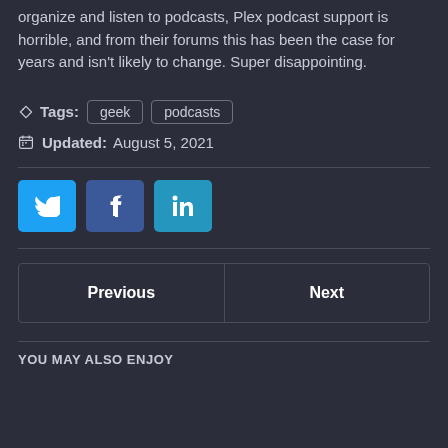organize and listen to podcasts, Plex podcast support is horrible, and from their forums this has been the case for years and isn't likely to change. Super disappointing.
Tags: geek  podcasts
Updated: August 5, 2021
[Figure (infographic): Social share buttons: Twitter (blue), Facebook (dark blue), LinkedIn (light blue)]
Previous   Next
YOU MAY ALSO ENJOY